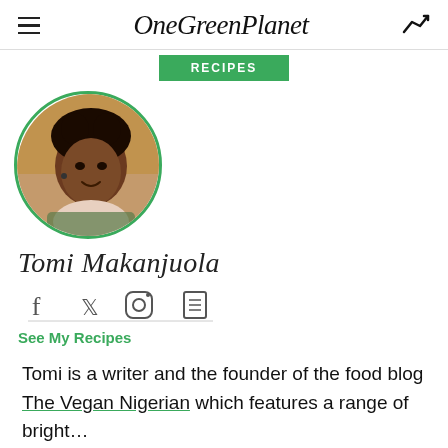OneGreenPlanet
RECIPES
[Figure (photo): Circular profile photo of Tomi Makanjuola, a woman with braided hair, smiling, with a green circular border]
Tomi Makanjuola
[Figure (infographic): Social media icons: Facebook, Twitter, Instagram, and a book/blog icon]
See My Recipes
Tomi is a writer and the founder of the food blog The Vegan Nigerian which features a range of bright...